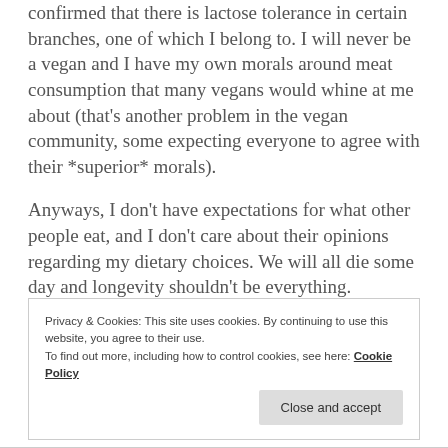confirmed that there is lactose tolerance in certain branches, one of which I belong to. I will never be a vegan and I have my own morals around meat consumption that many vegans would whine at me about (that's another problem in the vegan community, some expecting everyone to agree with their *superior* morals).
Anyways, I don't have expectations for what other people eat, and I don't care about their opinions regarding my dietary choices. We will all die some day and longevity shouldn't be everything.
Privacy & Cookies: This site uses cookies. By continuing to use this website, you agree to their use. To find out more, including how to control cookies, see here: Cookie Policy